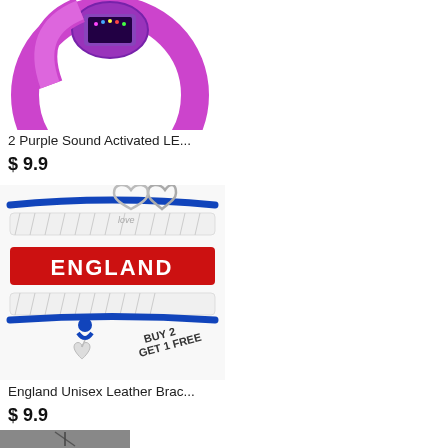[Figure (photo): Purple LED wristband/bracelet with circular purple silicone band, partially visible at top of page]
2 Purple Sound Activated LE...
$ 9.9
[Figure (photo): England Unisex Leather Bracelet with infinity symbol and 'love' charm, red ENGLAND text band, blue leather cord, heart charm, and BUY 2 GET 1 FREE stamp]
England Unisex Leather Brac...
$ 9.9
[Figure (photo): Partial view of a third product at bottom of page, appears to be a necklace or jewelry item]